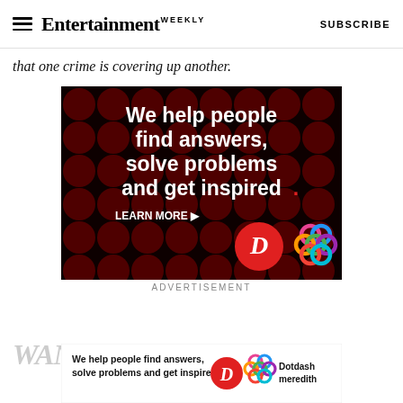Entertainment Weekly  SUBSCRIBE
that one crime is covering up another.
[Figure (illustration): Advertisement banner with dark background covered in dark red dots/circles. White bold text reads 'We help people find answers, solve problems and get inspired.' with a red dot after 'inspired'. Below: 'LEARN MORE' with an arrow, then two logos: a red circle with letter D (Dotdash) and a colorful interlocking rings logo (Meredith).]
ADVERTISEMENT
[Figure (illustration): Sticky bottom ad bar with white background. Text reads 'We help people find answers, solve problems and get inspired.' followed by Dotdash D logo in red circle, colorful Meredith rings logo, and 'Dotdash meredith' text.]